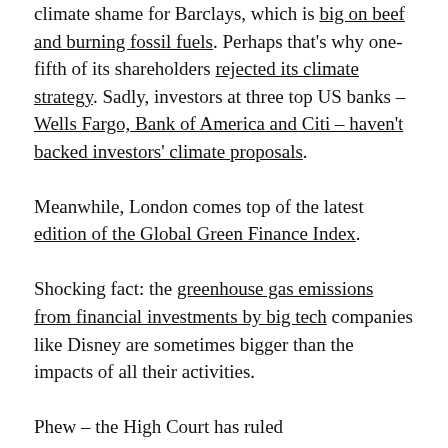climate shame for Barclays, which is big on beef and burning fossil fuels. Perhaps that's why one-fifth of its shareholders rejected its climate strategy. Sadly, investors at three top US banks – Wells Fargo, Bank of America and Citi – haven't backed investors' climate proposals. Meanwhile, London comes top of the latest edition of the Global Green Finance Index. Shocking fact: the greenhouse gas emissions from financial investments by big tech companies like Disney are sometimes bigger than the impacts of all their activities. Phew – the High Court has ruled